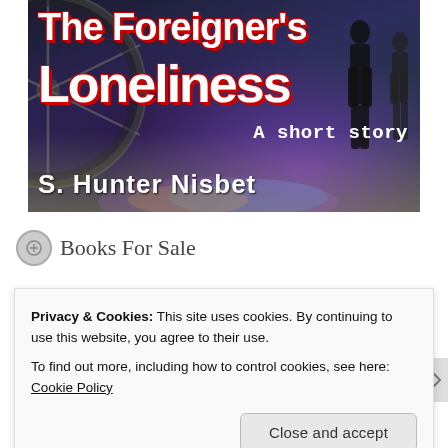[Figure (illustration): Book cover for 'The Foreigner's Loneliness: A short story' by S. Hunter Nisbet. Dark background with a bicycle wheel on the left, pedestrians/silhouettes on the right, colorful pavement reflection. Bold white text with red shadow for title.]
Books For Sale
Privacy & Cookies: This site uses cookies. By continuing to use this website, you agree to their use.
To find out more, including how to control cookies, see here: Cookie Policy
Close and accept